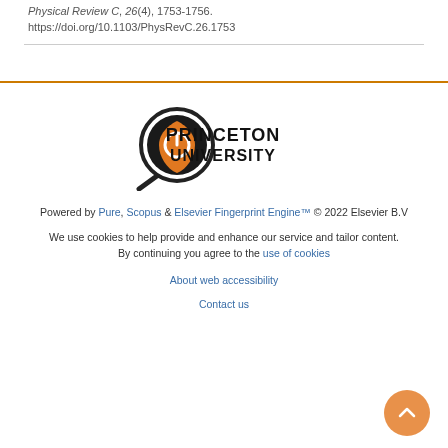Physical Review C, 26(4), 1753-1756. https://doi.org/10.1103/PhysRevC.26.1753
[Figure (logo): Princeton University logo with magnifying glass icon and text 'PRINCETON UNIVERSITY']
Powered by Pure, Scopus & Elsevier Fingerprint Engine™ © 2022 Elsevier B.V
We use cookies to help provide and enhance our service and tailor content. By continuing you agree to the use of cookies
About web accessibility
Contact us